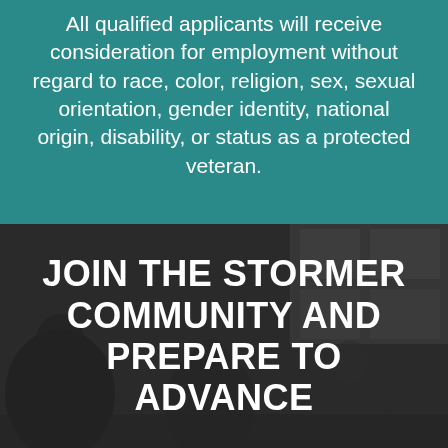All qualified applicants will receive consideration for employment without regard to race, color, religion, sex, sexual orientation, gender identity, national origin, disability, or status as a protected veteran.
[Figure (photo): Dark overlay photo of people working in an office/meeting setting, serving as background for text overlay]
JOIN THE STORMER COMMUNITY AND PREPARE TO ADVANCE